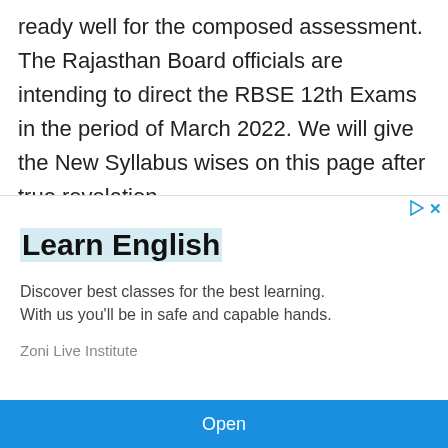ready well for the composed assessment. The Rajasthan Board officials are intending to direct the RBSE 12th Exams in the period of March 2022. We will give the New Syllabus wises on this page after true revelation.
[Figure (other): Advertisement banner for 'Learn English' by Zoni Live Institute. Headline: Learn English. Body: Discover best classes for the best learning. With us you'll be in safe and capable hands. Source: Zoni Live Institute. Button: Open.]